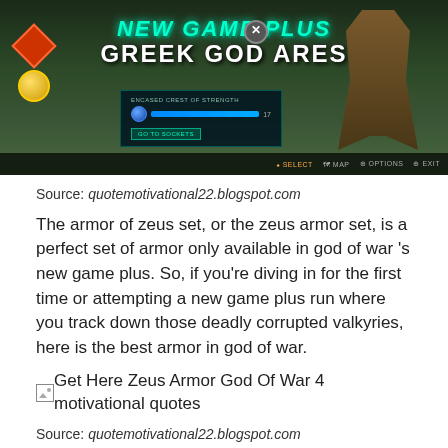[Figure (screenshot): God of War game screenshot showing 'NEW GAME PLUS - GREEK GOD ARES' title with game UI elements, character equipment panel, and game menu bar at bottom]
Source: quotemotivational22.blogspot.com
The armor of zeus set, or the zeus armor set, is a perfect set of armor only available in god of war 's new game plus. So, if you're diving in for the first time or attempting a new game plus run where you track down those deadly corrupted valkyries, here is the best armor in god of war.
[Figure (screenshot): Broken image placeholder for 'Get Here Zeus Armor God Of War 4 motivational quotes']
Source: quotemotivational22.blogspot.com
Best armor in god of war, ranked worst to best. Zues' armor is arguably the best in the game due to the huge dps upgrade